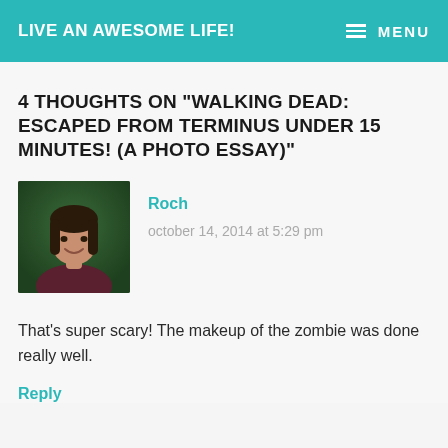LIVE AN AWESOME LIFE!   ≡ MENU
4 THOUGHTS ON "WALKING DEAD: ESCAPED FROM TERMINUS UNDER 15 MINUTES! (A PHOTO ESSAY)"
[Figure (photo): Avatar photo of commenter Roch — a woman with long dark hair, smiling, in front of green foliage, wearing a dark red top.]
Roch
october 14, 2014 at 5:29 pm
That's super scary! The makeup of the zombie was done really well.
Reply